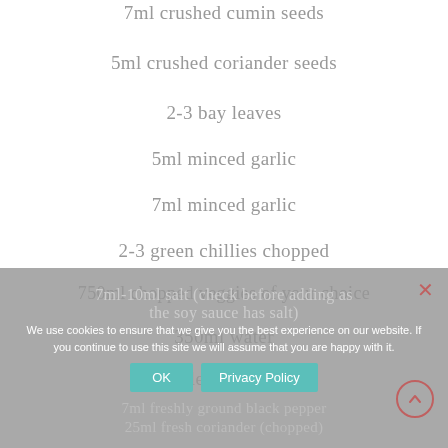7ml crushed cumin seeds
5ml crushed coriander seeds
2-3 bay leaves
5ml minced garlic
7ml minced garlic
2-3 green chillies chopped
750ml chopped veggies of your choice
350ml water
20 lemon juice
7ml-10ml salt (check before adding as the soy sauce has salt)
7ml freshly ground black pepper
25ml fresh coriander (chopped)
We use cookies to ensure that we give you the best experience on our website. If you continue to use this site we will assume that you are happy with it.